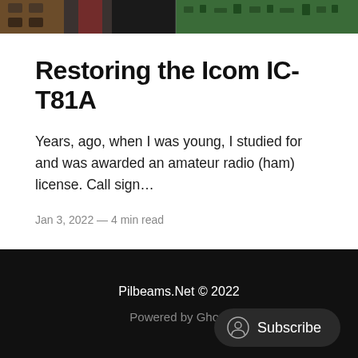[Figure (photo): Top banner photo showing electronic circuit boards and radio hardware, with PCB components visible in green and dark tones]
Restoring the Icom IC-T81A
Years, ago, when I was young, I studied for and was awarded an amateur radio (ham) license. Call sign…
Jan 3, 2022 — 4 min read
Pilbeams.Net © 2022
Powered by Ghost